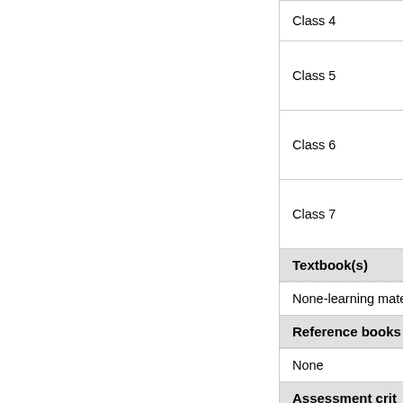|  |  |
| --- | --- |
| Class 4 | - Discus
- Audien |
| Class 5 | Enhanci |
| Class 6 | Enhanci |
| Class 7 | Enhanci |
Textbook(s)
None-learning mater
Reference books
None
Assessment crit
60% homework assi